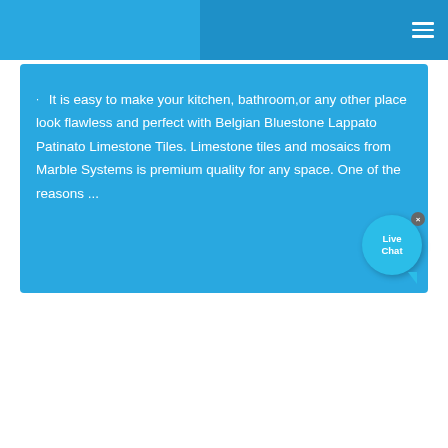Navigation header with hamburger menu icon
It is easy to make your kitchen, bathroom,or any other place look flawless and perfect with Belgian Bluestone Lappato Patinato Limestone Tiles. Limestone tiles and mosaics from Marble Systems is premium quality for any space. One of the reasons ...
[Figure (other): Live Chat widget bubble with 'Live Chat' text and close button]